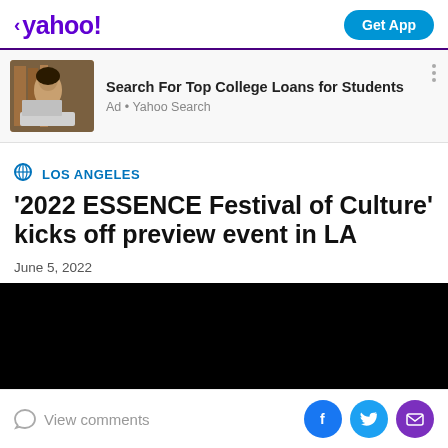< yahoo!  Get App
[Figure (photo): Advertisement: woman at laptop, Search For Top College Loans for Students, Ad • Yahoo Search]
LOS ANGELES
'2022 ESSENCE Festival of Culture' kicks off preview event in LA
June 5, 2022
[Figure (photo): Black/dark image placeholder (video or photo)]
View comments  [Facebook] [Twitter] [Email]